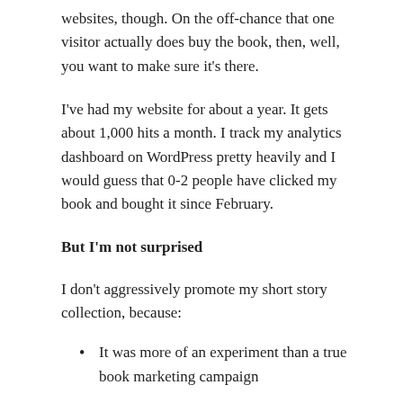websites, though. On the off-chance that one visitor actually does buy the book, then, well, you want to make sure it's there.
I've had my website for about a year. It gets about 1,000 hits a month. I track my analytics dashboard on WordPress pretty heavily and I would guess that 0-2 people have clicked my book and bought it since February.
But I'm not surprised
I don't aggressively promote my short story collection, because:
It was more of an experiment than a true book marketing campaign